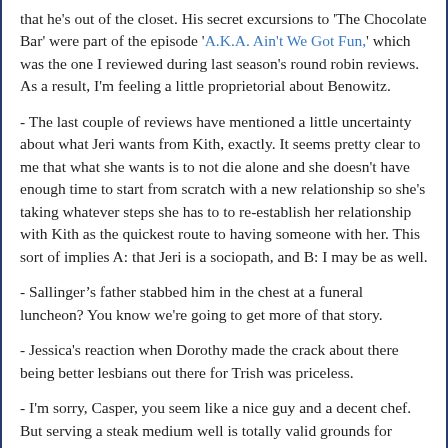that he's out of the closet. His secret excursions to 'The Chocolate Bar' were part of the episode 'A.K.A. Ain't We Got Fun,' which was the one I reviewed during last season's round robin reviews. As a result, I'm feeling a little proprietorial about Benowitz.
- The last couple of reviews have mentioned a little uncertainty about what Jeri wants from Kith, exactly. It seems pretty clear to me that what she wants is to not die alone and she doesn't have enough time to start from scratch with a new relationship so she's taking whatever steps she has to to re-establish her relationship with Kith as the quickest route to having someone with her. This sort of implies A: that Jeri is a sociopath, and B: I may be as well.
- Sallinger’s father stabbed him in the chest at a funeral luncheon? You know we're going to get more of that story.
- Jessica's reaction when Dorothy made the crack about there being better lesbians out there for Trish was priceless.
- I'm sorry, Casper, you seem like a nice guy and a decent chef. But serving a steak medium well is totally valid grounds for violent murder.
- Erik and Trish have a surprisingly fun dynamic. I hope we get more of that next time.